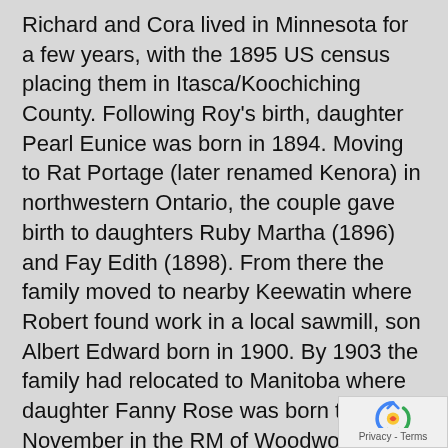Richard and Cora lived in Minnesota for a few years, with the 1895 US census placing them in Itasca/Koochiching County. Following Roy's birth, daughter Pearl Eunice was born in 1894. Moving to Rat Portage (later renamed Kenora) in northwestern Ontario, the couple gave birth to daughters Ruby Martha (1896) and Fay Edith (1898). From there the family moved to nearby Keewatin where Robert found work in a local sawmill, son Albert Edward born in 1900. By 1903 the family had relocated to Manitoba where daughter Fanny Rose was born that November in the RM of Woodworth. A short time later they settled in Virden, Manitoba where Robert worked at odd jobs and later as a carpenter. Children born in Virden were Earl Denziel (1907), Cora Mildred (1909), and Margaret Violet (1913).
Roy was living in Victoria, British Columbia and working as an electrician for a telephone installer when he enlisted with the Royal Flying Corps on 15 September 1917 in
[Figure (logo): Google reCAPTCHA privacy badge with recaptcha logo icon and 'Privacy - Terms' text]